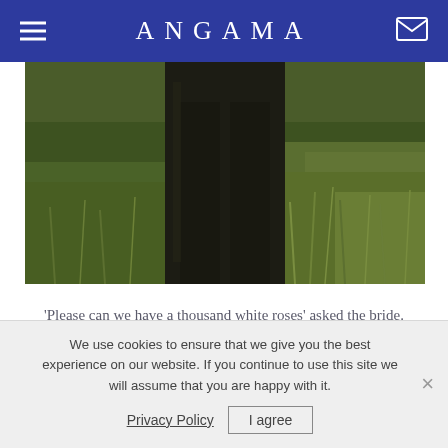ANGAMA
[Figure (photo): Outdoor photo showing dark trousers/clothing against green grass background, partial figure from waist down]
'Please can we have a thousand white roses' asked the bride. Absolutely no problem other than it took supplier #3 to find the perfect white rose. 'And we will get married under a chuppah' she added. A quick visit to Pinterest and the drawings were on their way to the lodge. And just to make everything look perfect we
We use cookies to ensure that we give you the best experience on our website. If you continue to use this site we will assume that you are happy with it.
Privacy Policy   I agree